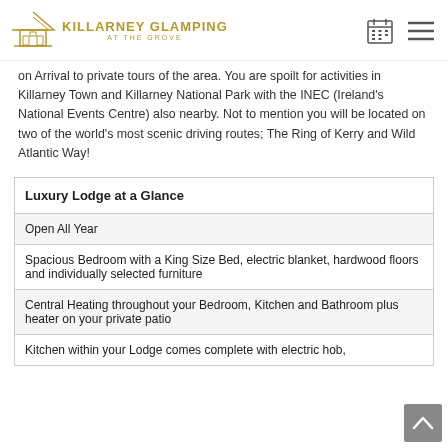Killarney Glamping at the Grove
on Arrival to private tours of the area. You are spoilt for activities in Killarney Town and Killarney National Park with the INEC (Ireland's National Events Centre) also nearby. Not to mention you will be located on two of the world's most scenic driving routes; The Ring of Kerry and Wild Atlantic Way!
| Luxury Lodge at a Glance |
| --- |
| Open All Year |
| Spacious Bedroom with a King Size Bed, electric blanket, hardwood floors and individually selected furniture |
| Central Heating throughout your Bedroom, Kitchen and Bathroom plus heater on your private patio |
| Kitchen within your Lodge comes complete with electric hob, |